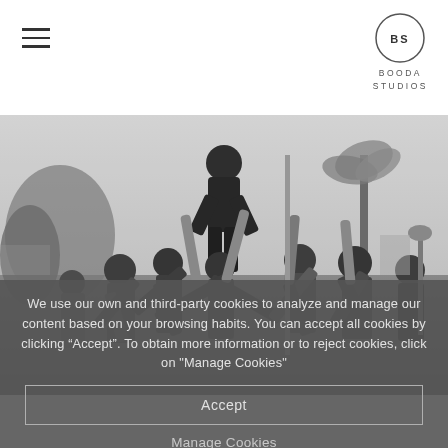BOODA STUDIOS
[Figure (photo): Black and white wedding photo of groomsmen tossing the groom into the air outdoors, with palm trees in the background.]
We use our own and third-party cookies to analyze and manage our content based on your browsing habits. You can accept all cookies by clicking “Accept”. To obtain more information or to reject cookies, click on "Manage Cookies"
Accept
Manage Cookies